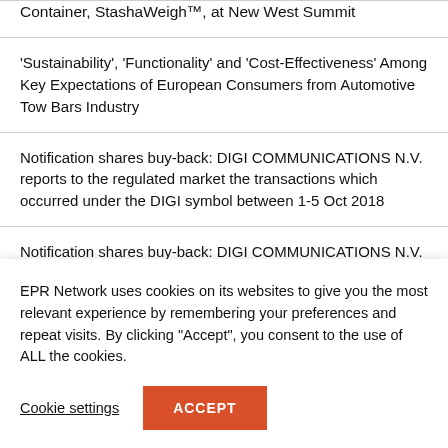Container, StashaWeigh™, at New West Summit
'Sustainability', 'Functionality' and 'Cost-Effectiveness' Among Key Expectations of European Consumers from Automotive Tow Bars Industry
Notification shares buy-back: DIGI COMMUNICATIONS N.V. reports to the regulated market the transactions which occurred under the DIGI symbol between 1-5 Oct 2018
Notification shares buy-back: DIGI COMMUNICATIONS N.V. reports to the regulated market the transactions which occurred under the DIGI symbol, 24-28 Sept 2018
EPR Network uses cookies on its websites to give you the most relevant experience by remembering your preferences and repeat visits. By clicking "Accept", you consent to the use of ALL the cookies.
Cookie settings | ACCEPT